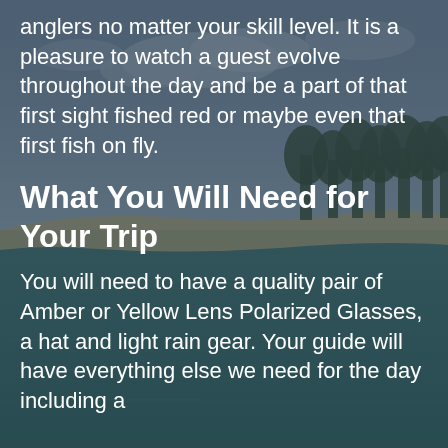[Figure (photo): Coastal beach scene with turquoise-green water in the foreground, a sandy shoreline with pine trees in the middle distance, and a partly cloudy sky. The image has a semi-transparent dark overlay with white text overlaid on top.]
anglers no matter your skill level. It is a pleasure to watch a guest evolve throughout the day and be a part of that first sight fished red or maybe even that first fish on fly.
What You Will Need for Your Trip
You will need to have a quality pair of Amber or Yellow Lens Polarized Glasses, a hat and light rain gear. Your guide will have everything else we need for the day including a